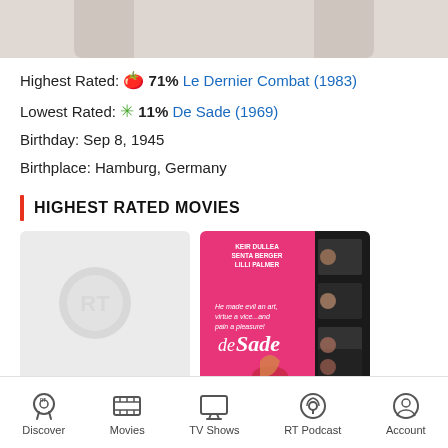[Figure (photo): Partial top image cropped, showing a light-colored background (likely a photo of a person, cut off at top)]
Highest Rated: 🍅 71% Le Dernier Combat (1983)
Lowest Rated: ✳ 11% De Sade (1969)
Birthday: Sep 8, 1945
Birthplace: Hamburg, Germany
HIGHEST RATED MOVIES
[Figure (photo): Rotten Tomatoes placeholder card (grey background with faint RT logo)]
[Figure (photo): Movie poster for De Sade (1969) - pink and black poster featuring Keir Dullea, Senta Berger, Lilli Palmer]
Discover  Movies  TV Shows  RT Podcast  Account